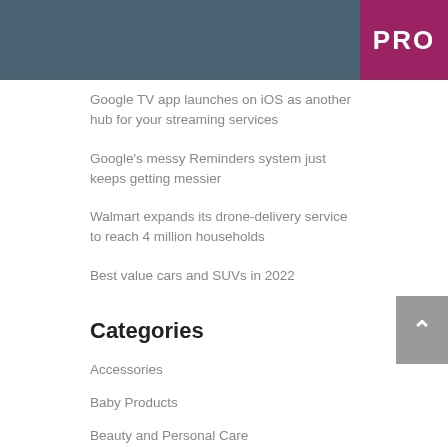PRO
Google TV app launches on iOS as another hub for your streaming services
Google's messy Reminders system just keeps getting messier
Walmart expands its drone-delivery service to reach 4 million households
Best value cars and SUVs in 2022
Categories
Accessories
Baby Products
Beauty and Personal Care
Books
Cameras